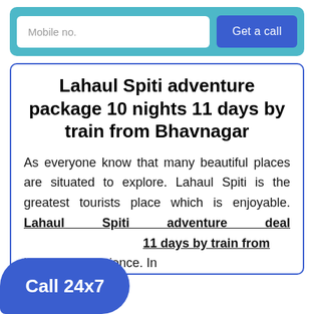[Figure (screenshot): Mobile number input field with placeholder text 'Mobile no.' and a blue 'Get a call' button, inside a teal rounded rectangle widget]
Lahaul Spiti adventure package 10 nights 11 days by train from Bhavnagar
As everyone know that many beautiful places are situated to explore. Lahaul Spiti is the greatest tourists place which is enjoyable. Lahaul Spiti adventure deal 11 days by train from is best to experience. In
[Figure (other): Blue rounded call button with text 'Call 24x7']